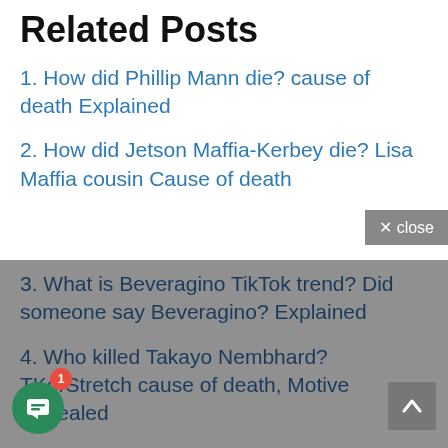Related Posts
1. How did Phillip Mann die? cause of death Explained
2. How did Jetson Maffia-Kerbey die? Lisa Maffia cousin Cause of death
3. What is Beveragino TikTok trend? Did someone say Beveragino? Explained
4. Who killed Takayo Nembhard? TKorStretch cause of death, Motive Revealed
5. How did Kazuo Inamori die? Cause of death Revealed
6. Who was Kaylee Gansberg? How did the student die in MI hit and run crash?